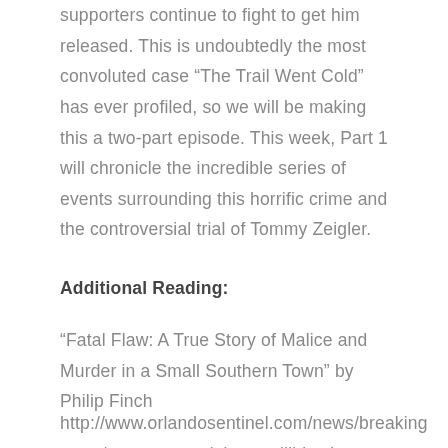supporters continue to fight to get him released. This is undoubtedly the most convoluted case “The Trail Went Cold” has ever profiled, so we will be making this a two-part episode. This week, Part 1 will chronicle the incredible series of events surrounding this horrific crime and the controversial trial of Tommy Zeigler.
Additional Reading:
“Fatal Flaw: A True Story of Malice and Murder in a Small Southern Town” by Philip Finch
http://www.orlandosentinel.com/news/breaking news/os-tommy-zeigler-medill-justice-